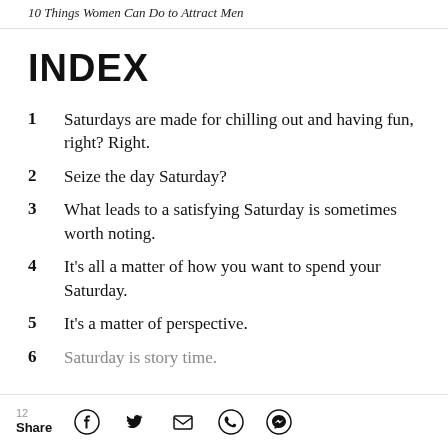10 Things Women Can Do to Attract Men
INDEX
1   Saturdays are made for chilling out and having fun, right? Right.
2   Seize the day Saturday?
3   What leads to a satisfying Saturday is sometimes worth noting.
4   It's all a matter of how you want to spend your Saturday.
5   It's a matter of perspective.
6   Saturday is story time.
12  Share